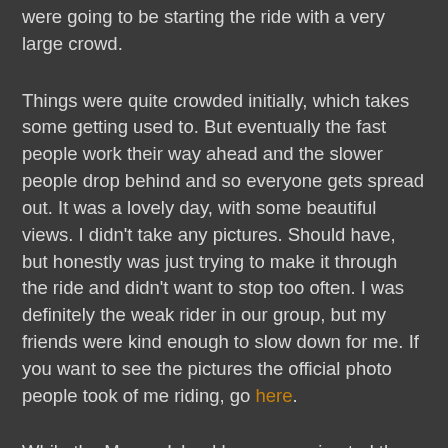were going to be starting the ride with a very large crowd.
Things were quite crowded initially, which takes some getting used to. But eventually the fast people work their way ahead and the slower people drop behind and so everyone gets spread out. It was a lovely day, with some beautiful views. I didn't take any pictures. Should have, but honestly was just trying to make it through the ride and didn't want to stop too often. I was definitely the weak rider in our group, but my friends were kind enough to slow down for me. If you want to see the pictures the official photo people took of me riding, go here.
While the Mercer Island loop approximated the distance and the climbing of the Chilly Hilly, it turns out that Mercer Island is way, way easier. On Mercer Island, almost all hills are preceded by downhills, allowing you to use the momentum from the down to coast most of the way up. A lot of the climbing is made up just from gentle rolling hills. Very few actual climbs. There's definitely a lot of that on Bainbridge, but Bainbridge also has 4 good climbs, some of which are just preceded by flat stretches. Not to mention that even if